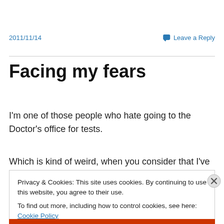2011/11/14    Leave a Reply
Facing my fears
I'm one of those people who hate going to the Doctor's office for tests.
Which is kind of weird, when you consider that I've never
Privacy & Cookies: This site uses cookies. By continuing to use this website, you agree to their use.
To find out more, including how to control cookies, see here: Cookie Policy